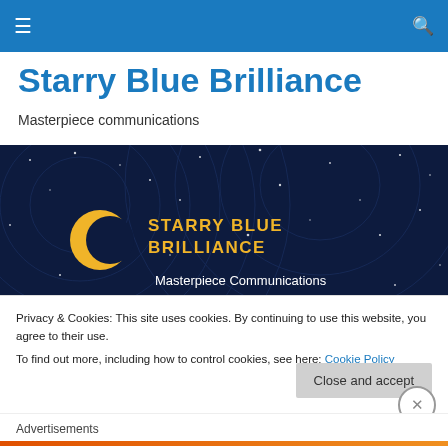≡   🔍
Starry Blue Brilliance
Masterpiece communications
[Figure (illustration): Dark navy night-sky banner with swirling circular star patterns. Contains a yellow crescent moon logo and yellow text reading STARRY BLUE BRILLIANCE with subtitle Masterpiece Communications in white.]
Privacy & Cookies: This site uses cookies. By continuing to use this website, you agree to their use.
To find out more, including how to control cookies, see here: Cookie Policy
Close and accept
Advertisements